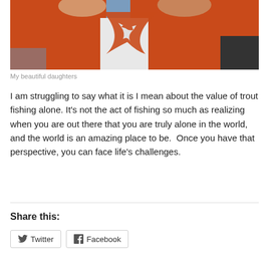[Figure (photo): Two children wearing orange life vests on a boat, photographed from above]
My beautiful daughters
I am struggling to say what it is I mean about the value of trout fishing alone. It's not the act of fishing so much as realizing when you are out there that you are truly alone in the world, and the world is an amazing place to be.  Once you have that perspective, you can face life's challenges.
Share this:
Twitter
Facebook